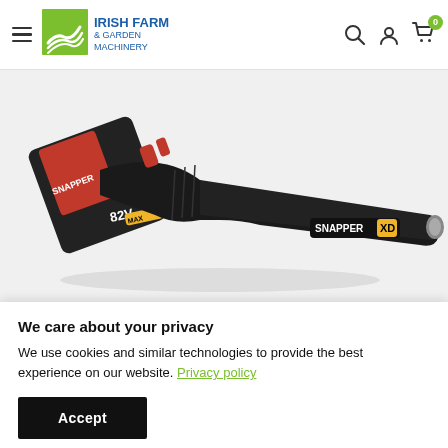Irish Farm & Garden Machinery — navigation header with hamburger menu, logo, search icon, account icon, cart icon with badge 0
[Figure (photo): Snapper XD 82V cordless leaf blower product photo on light grey background. The blower is black with red accents, showing the battery pack on the left and a long cylindrical nozzle extending to the right. The Snapper XD logo is visible on the nozzle tube.]
We care about your privacy
We use cookies and similar technologies to provide the best experience on our website. Privacy policy
Accept